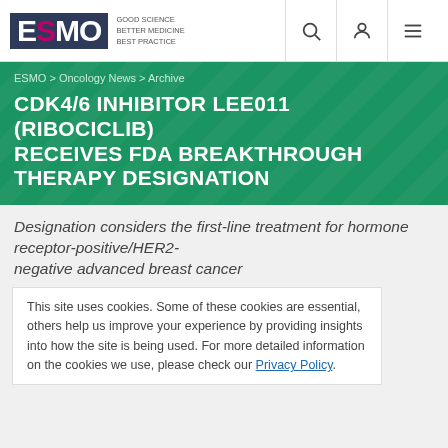ESMO — Good Science Better Medicine Best Practice [navigation bar with search, user, and menu icons]
ESMO > Oncology News > Archive
CDK4/6 INHIBITOR LEE011 (RIBOCICLIB) RECEIVES FDA BREAKTHROUGH THERAPY DESIGNATION
Designation considers the first-line treatment for hormone receptor-positive/HER2-negative advanced breast cancer
This site uses cookies. Some of these cookies are essential, others help us improve your experience by providing insights into how the site is being used. For more detailed information on the cookies we use, please check our Privacy Policy.
Date: 08 Sep 2016
Topics: Breast cancer; Anticancer agents & Biologic therapy
On 3 August 2016 Novartis announced that the US Food